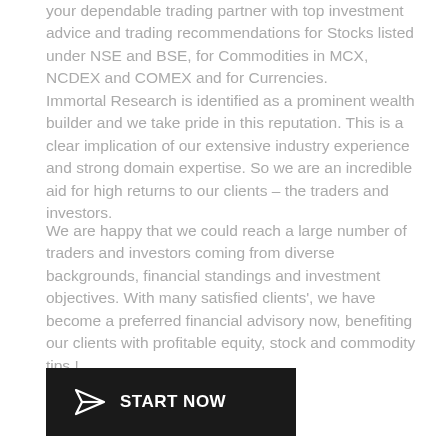your dependable trading partner with top investment advice and trading recommendations for Stocks listed under NSE and BSE, for Commodities in MCX, NCDEX and COMEX and for Currencies.
Immortal Research is identified as a prominent wealth builder and we take pride in this reputation. This is a clear implication of our extensive industry experience and strong domain expertise. So we are an incredible aid for high returns to our clients – the traders and investors.
We are happy that we could reach a large number of traders and investors coming from diverse backgrounds, financial standings and investment objectives. With many satisfied clients', we have become a preferred financial advisory now, benefiting our clients with profitable equity, stock and commodity tips !
[Figure (other): Dark rectangular button with paper airplane icon and text 'START NOW']